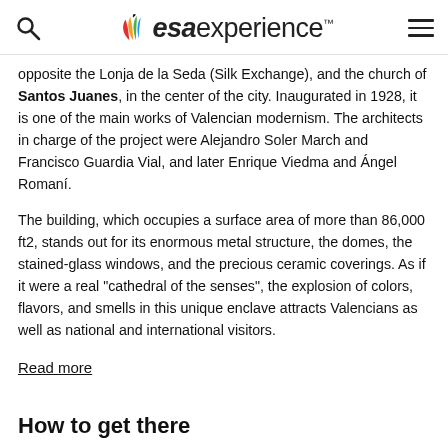esa experience
opposite the Lonja de la Seda (Silk Exchange), and the church of Santos Juanes, in the center of the city. Inaugurated in 1928, it is one of the main works of Valencian modernism. The architects in charge of the project were Alejandro Soler March and Francisco Guardia Vial, and later Enrique Viedma and Ángel Romaní.
The building, which occupies a surface area of more than 86,000 ft2, stands out for its enormous metal structure, the domes, the stained-glass windows, and the precious ceramic coverings. As if it were a real "cathedral of the senses", the explosion of colors, flavors, and smells in this unique enclave attracts Valencians as well as national and international visitors.
Read more
How to get there